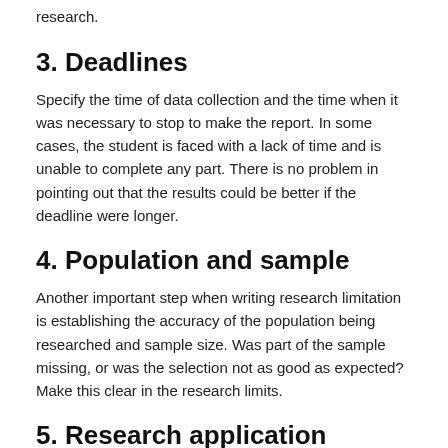research.
3. Deadlines
Specify the time of data collection and the time when it was necessary to stop to make the report. In some cases, the student is faced with a lack of time and is unable to complete any part. There is no problem in pointing out that the results could be better if the deadline were longer.
4. Population and sample
Another important step when writing research limitation is establishing the accuracy of the population being researched and sample size. Was part of the sample missing, or was the selection not as good as expected? Make this clear in the research limits.
5. Research application
When you do research, you expect the relevance of the work to contribute to a particular area. When completing